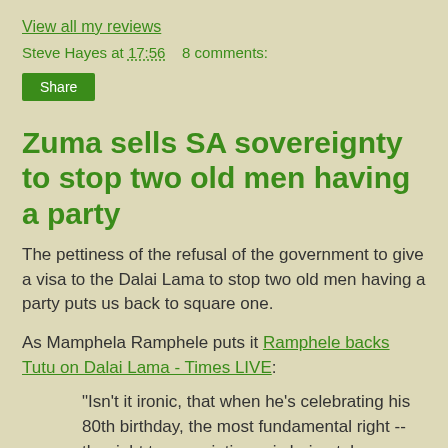View all my reviews
Steve Hayes at 17:56    8 comments:
Share
Zuma sells SA sovereignty to stop two old men having a party
The pettiness of the refusal of the government to give a visa to the Dalai Lama to stop two old men having a party puts us back to square one.
As Mamphela Ramphele puts it Ramphele backs Tutu on Dalai Lama - Times LIVE:
"Isn't it ironic, that when he's celebrating his 80th birthday, the most fundamental right -- the right to association -- is being taken away from him?